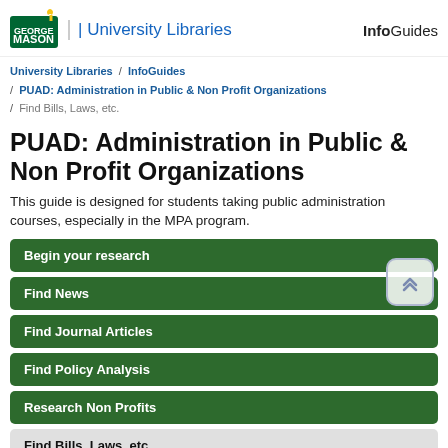George Mason University | University Libraries — InfoGuides
University Libraries / InfoGuides / PUAD: Administration in Public & Non Profit Organizations / Find Bills, Laws, etc.
PUAD: Administration in Public & Non Profit Organizations
This guide is designed for students taking public administration courses, especially in the MPA program.
Begin your research
Find News
Find Journal Articles
Find Policy Analysis
Research Non Profits
Find Bills, Laws, etc.